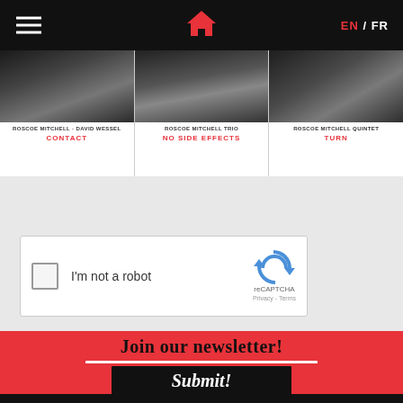Navigation bar with hamburger menu, home icon, EN / FR language selector
[Figure (photo): Black and white photo of musicians - ROSCOE MITCHELL - DAVID WESSEL, album: CONTACT]
ROSCOE MITCHELL - DAVID WESSEL
CONTACT
[Figure (photo): Black and white photo of musicians - ROSCOE MITCHELL TRIO, album: NO SIDE EFFECTS]
ROSCOE MITCHELL TRIO
NO SIDE EFFECTS
[Figure (photo): Black and white photo of musicians - ROSCOE MITCHELL QUINTET, album: TURN]
ROSCOE MITCHELL QUINTET
TURN
[Figure (screenshot): reCAPTCHA widget with checkbox labeled I'm not a robot]
I'm not a robot
reCAPTCHA
Privacy - Terms
Join our newsletter!
Enter your e-mail
Submit!